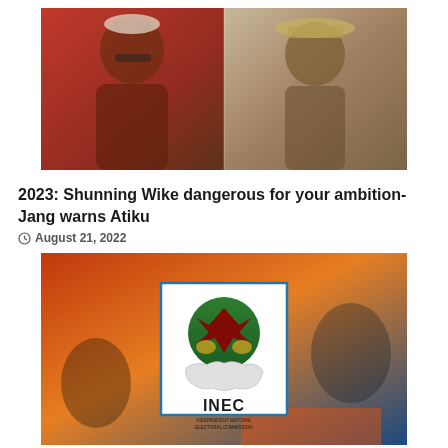[Figure (photo): Two Nigerian politicians side by side — man in white traditional attire and glasses on left, man in hat on right]
2023: Shunning Wike dangerous for your ambition- Jang warns Atiku
August 21, 2022
[Figure (photo): INEC (Independent National Electoral Commission) logo displayed over blurred background of people at polling stations]
2023: Why Collation of results will be done manually despite e-transmission- INEC
August 21, 2022